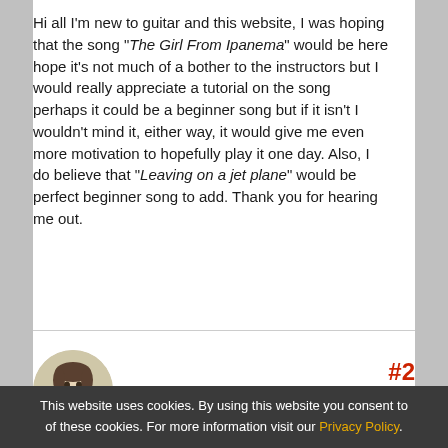Hi all I'm new to guitar and this website, I was hoping that the song "The Girl From Ipanema" would be here hope it's not much of a bother to the instructors but I would really appreciate a tutorial on the song perhaps it could be a beginner song but if it isn't I wouldn't mind it, either way, it would give me even more motivation to hopefully play it one day. Also, I do believe that "Leaving on a jet plane" would be perfect beginner song to add. Thank you for hearing me out.
#2
05/28/2021
1:53:31 AM
davem_or
Full Access
Joined: 10/31/17
This website uses cookies. By using this website you consent to of these cookies. For more information visit our Privacy Policy.